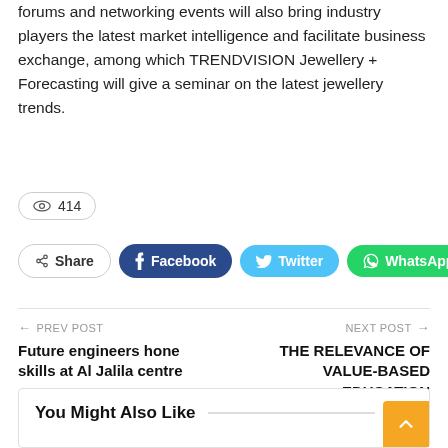forums and networking events will also bring industry players the latest market intelligence and facilitate business exchange, among which TRENDVISION Jewellery + Forecasting will give a seminar on the latest jewellery trends.
414 (views)
Share | Facebook | Twitter | WhatsApp | +
← PREV POST
Future engineers hone skills at Al Jalila centre
NEXT POST →
THE RELEVANCE OF VALUE-BASED EDUCATION
You Might Also Like